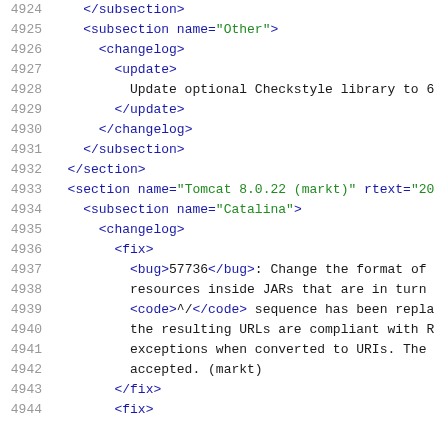Code listing lines 4924-4944 showing XML changelog content for Apache Tomcat
4924    </subsection>
4925    <subsection name="Other">
4926      <changelog>
4927        <update>
4928          Update optional Checkstyle library to 6
4929        </update>
4930      </changelog>
4931    </subsection>
4932  </section>
4933  <section name="Tomcat 8.0.22 (markt)" rtext="20
4934    <subsection name="Catalina">
4935      <changelog>
4936        <fix>
4937          <bug>57736</bug>: Change the format of
4938          resources inside JARs that are in turn
4939          <code>^/</code> sequence has been repla
4940          the resulting URLs are compliant with R
4941          exceptions when converted to URIs. The
4942          accepted. (markt)
4943        </fix>
4944        <fix>